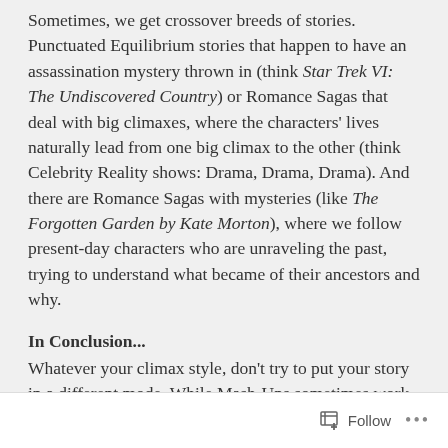Sometimes, we get crossover breeds of stories. Punctuated Equilibrium stories that happen to have an assassination mystery thrown in (think Star Trek VI: The Undiscovered Country) or Romance Sagas that deal with big climaxes, where the characters' lives naturally lead from one big climax to the other (think Celebrity Reality shows: Drama, Drama, Drama). And there are Romance Sagas with mysteries (like The Forgotten Garden by Kate Morton), where we follow present-day characters who are unraveling the past, trying to understand what became of their ancestors and why.
In Conclusion...
Whatever your climax style, don't try to put your story in a different mode. While Mash-Ups sometimes work, you often lose your story's voice and charm by trying to reach too broad an audience. Everyone likes a good story—so go
Follow ...